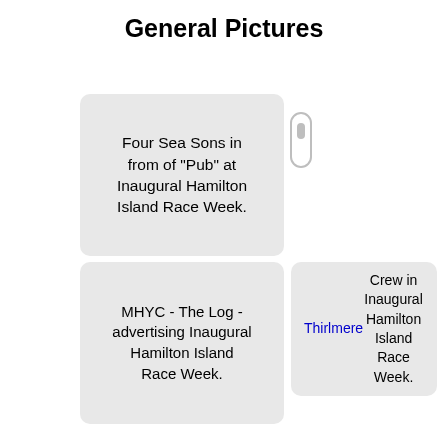General Pictures
Four Sea Sons in from of "Pub" at Inaugural Hamilton Island Race Week.
MHYC - The Log - advertising Inaugural Hamilton Island Race Week.
Thirlmere Crew in Inaugural Hamilton Island Race Week.
Thirlmere Crew in Inaugural Hamilton Island Race Week.
Thirlmere Crew in Inaugural Hamilton Island Race Week.
Hamilton Island 1984